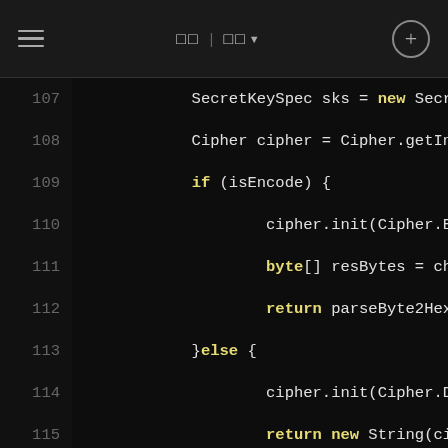≡   □□  □□▾   ⊕
[Figure (screenshot): Java code snippet showing lines 107-123 with syntax highlighting on a dark background. Keywords shown in yellow, function names in cyan, types in white.]